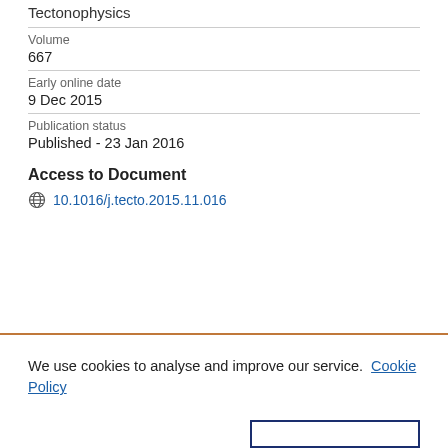Tectonophysics
Volume
667
Early online date
9 Dec 2015
Publication status
Published - 23 Jan 2016
Access to Document
10.1016/j.tecto.2015.11.016
We use cookies to analyse and improve our service. Cookie Policy